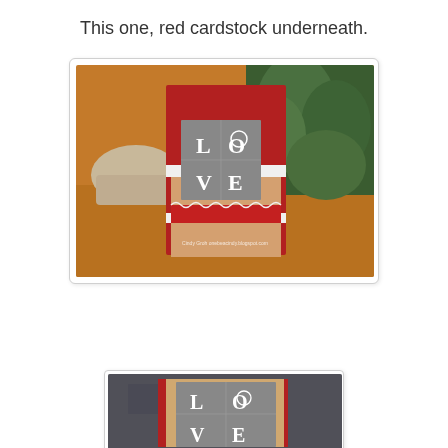This one, red cardstock underneath.
[Figure (photo): Handmade greeting card with LOVE stamp on gray background, layered on tan and red cardstock, displayed standing on a wooden table with green plants in background. Watermark: Cindy Groh onebeacindy.blogspot.com]
[Figure (photo): Close-up of LOVE stamp card showing gray stamped panel on tan/beige cardstock with red cardstock underneath, viewed from above on stone surface.]